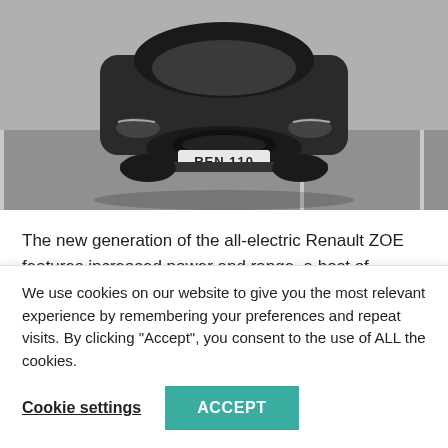[Figure (photo): Front view of a black Renault ZOE electric car with license plate 'REN 110' in a parking lot, shot from low angle in desaturated tones.]
The new generation of the all-electric Renault ZOE features increased power and range, a host of technological improvements, an overhauled interior and distinctive new exterior looks.
The New ZOE gets a powerful 52 kWh Z.E. 50 battery that
We use cookies on our website to give you the most relevant experience by remembering your preferences and repeat visits. By clicking “Accept”, you consent to the use of ALL the cookies.
Cookie settings | ACCEPT